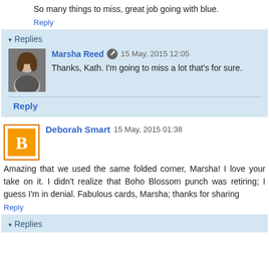So many things to miss, great job going with blue.
Reply
Replies
Marsha Reed  15 May, 2015 12:05
Thanks, Kath. I'm going to miss a lot that's for sure.
Reply
Deborah Smart  15 May, 2015 01:38
Amazing that we used the same folded corner, Marsha! I love your take on it. I didn't realize that Boho Blossom punch was retiring; I guess I'm in denial. Fabulous cards, Marsha; thanks for sharing
Reply
Replies